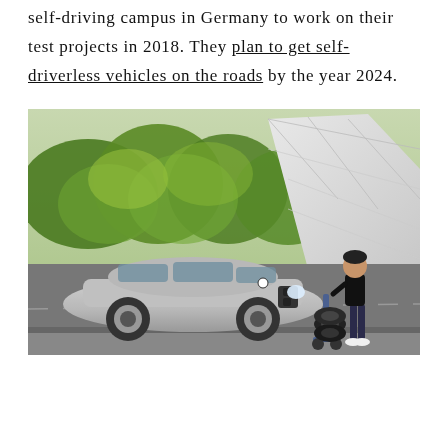self-driving campus in Germany to work on their test projects in 2018. They plan to get self-driverless vehicles on the roads by the year 2024.
[Figure (photo): A silver BMW 7-series sedan driving on a test track road, with a woman in dark clothing pushing a hand truck loaded with tires. A large geometric white faceted structure and green trees are visible in the background.]